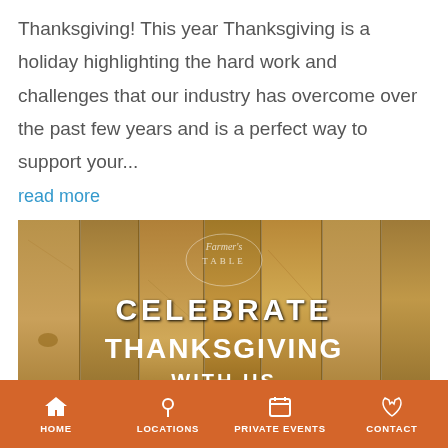Thanksgiving! This year Thanksgiving is a holiday highlighting the hard work and challenges that our industry has overcome over the past few years and is a perfect way to support your...
read more
[Figure (photo): Wooden background image with 'Farmer's Table' logo and text reading 'CELEBRATE THANKSGIVING WITH US' in white bold letters, with autumn decorations]
HOME  LOCATIONS  PRIVATE EVENTS  CONTACT